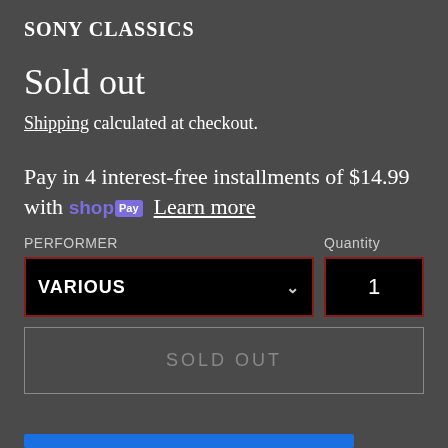SONY CLASSICS
Sold out
Shipping calculated at checkout.
Pay in 4 interest-free installments of $14.99 with shop Pay Learn more
PERFORMER
Quantity
VARIOUS
1
SOLD OUT